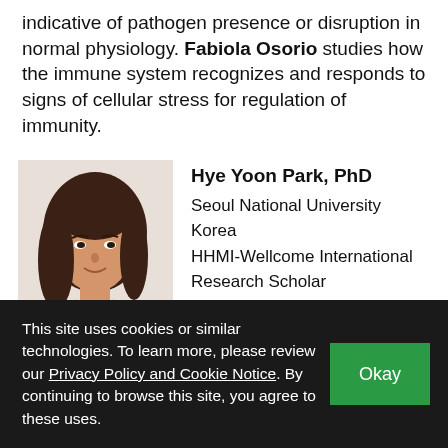indicative of pathogen presence or disruption in normal physiology. Fabiola Osorio studies how the immune system recognizes and responds to signs of cellular stress for regulation of immunity.
[Figure (photo): Headshot of Hye Yoon Park, a woman with long dark brown hair, wearing a black jacket and pearl necklace, smiling, against a light background.]
Hye Yoon Park, PhD
Seoul National University
Korea
HHMI-Wellcome International Research Scholar

Biophysicist Hye Yoon Park is
This site uses cookies or similar technologies. To learn more, please review our Privacy Policy and Cookie Notice. By continuing to browse this site, you agree to these uses.